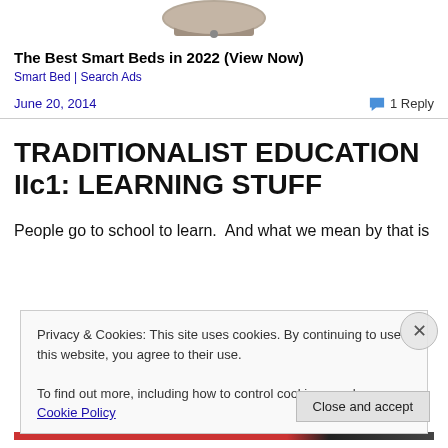[Figure (photo): Partial image of a smart bed product at the top of the page]
The Best Smart Beds in 2022 (View Now)
Smart Bed | Search Ads
June 20, 2014
1 Reply
TRADITIONALIST EDUCATION IIc1: LEARNING STUFF
People go to school to learn.  And what we mean by that is
Privacy & Cookies: This site uses cookies. By continuing to use this website, you agree to their use.
To find out more, including how to control cookies, see here: Cookie Policy